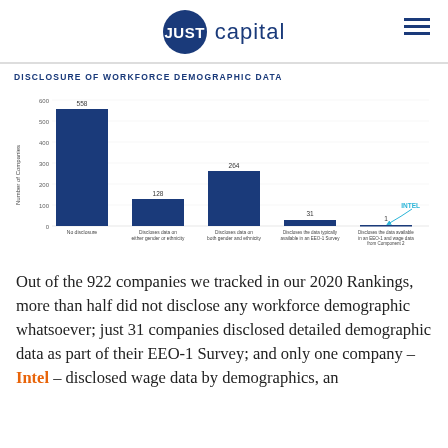JUST capital
DISCLOSURE OF WORKFORCE DEMOGRAPHIC DATA
[Figure (bar-chart): Disclosure of Workforce Demographic Data]
Out of the 922 companies we tracked in our 2020 Rankings, more than half did not disclose any workforce demographic whatsoever; just 31 companies disclosed detailed demographic data as part of their EEO-1 Survey; and only one company – Intel – disclosed wage data by demographics, an